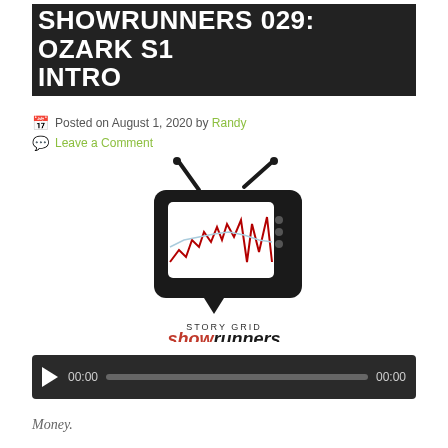SHOWRUNNERS 029: OZARK S1 INTRO
Posted on August 1, 2020 by Randy
Leave a Comment
[Figure (logo): Story Grid Showrunners logo featuring a retro TV set with a story grid chart on screen, speech bubble base, text reading STORY GRID showrunners ANALYZING HIT TV SERIES]
[Figure (other): Audio player with play button, 00:00 time display, progress bar, and 00:00 duration]
Money.